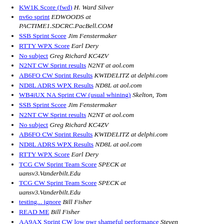KW1K Score (fwd)  H. Ward Silver
nv6o sprint  EDWOODS at PACTIME1.SDCRC.PacBell.COM
SSB Sprint Score  Jim Fenstermaker
RTTY WPX Score  Earl Dery
No subject  Greg Richard KC4ZV
N2NT CW Sprint results  N2NT at aol.com
AB6FO CW Sprint Results  KWIDELITZ at delphi.com
ND8L ADRS WPX Results  ND8L at aol.com
WB4iUX NA Sprint CW (usual whining)  Skelton, Tom
SSB Sprint Score  Jim Fenstermaker
N2NT CW Sprint results  N2NT at aol.com
No subject  Greg Richard KC4ZV
AB6FO CW Sprint Results  KWIDELITZ at delphi.com
ND8L ADRS WPX Results  ND8L at aol.com
RTTY WPX Score  Earl Dery
TCG CW Sprint Team Score  SPECK at uansv3.Vanderbilt.Edu
TCG CW Sprint Team Score  SPECK at uansv3.Vanderbilt.Edu
testing... ignore  Bill Fisher
READ ME  Bill Fisher
AA9AX Sprint CW low pwr shameful performance  Steven Sample
testing... ignore  Bill Fisher
READ ME  Bill Fisher